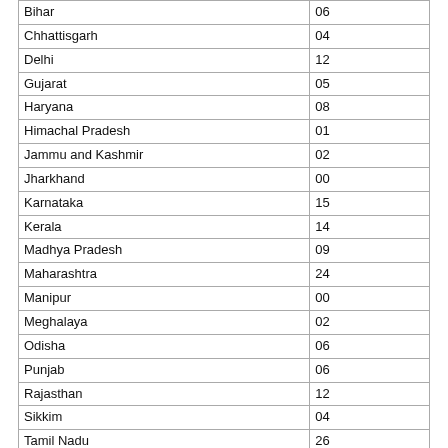| Bihar | 06 |
| Chhattisgarh | 04 |
| Delhi | 12 |
| Gujarat | 05 |
| Haryana | 08 |
| Himachal Pradesh | 01 |
| Jammu and Kashmir | 02 |
| Jharkhand | 00 |
| Karnataka | 15 |
| Kerala | 14 |
| Madhya Pradesh | 09 |
| Maharashtra | 24 |
| Manipur | 00 |
| Meghalaya | 02 |
| Odisha | 06 |
| Punjab | 06 |
| Rajasthan | 12 |
| Sikkim | 04 |
| Tamil Nadu | 26 |
| Uttaranchal | 06 |
| Uttar Pradesh | 18 |
| West Bengal | 07 |
Source: Calculated by the authors based on data from AISHE (2014-15)